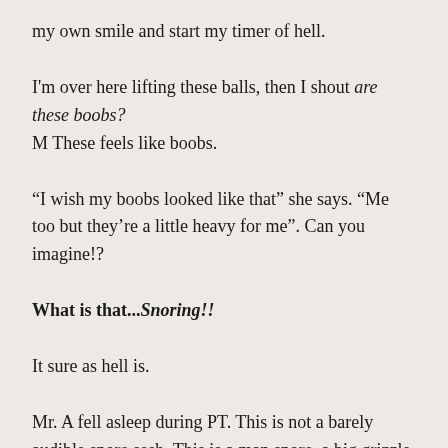my own smile and start my timer of hell.
I'm over here lifting these balls, then I shout are these boobs? M These feels like boobs.
“I wish my boobs looked like that” she says. “Me too but they’re a little heavy for me”. Can you imagine!?
What is that...Snoring!!
It sure as hell is.
Mr. A fell asleep during PT. This is not a barely audible snore sesh. This is a man snore, a big grizzle man snore.